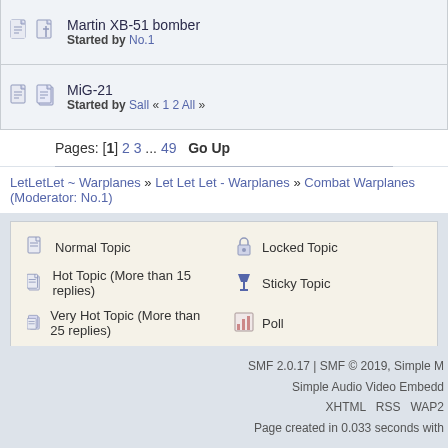Martin XB-51 bomber — Started by No.1
MiG-21 — Started by Sall « 1 2 All »
Pages: [1] 2 3 ... 49  Go Up
LetLetLet ~ Warplanes » Let Let Let - Warplanes » Combat Warplanes (Moderator: No.1)
Normal Topic | Hot Topic (More than 15 replies) | Very Hot Topic (More than 25 replies) | Locked Topic | Sticky Topic | Poll
SMF 2.0.17 | SMF © 2019, Simple M | Simple Audio Video Embedd | XHTML  RSS  WAP2 | Page created in 0.033 seconds with